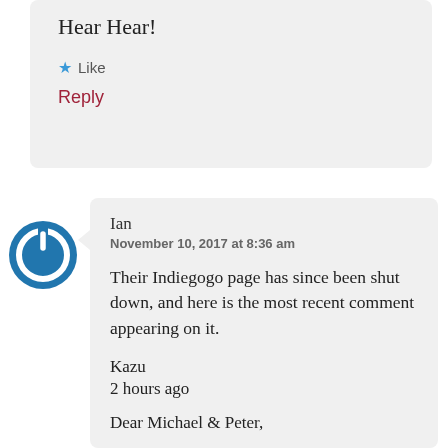Hear Hear!
★ Like
Reply
[Figure (logo): Blue circular power button icon used as commenter avatar]
Ian
November 10, 2017 at 8:36 am
Their Indiegogo page has since been shut down, and here is the most recent comment appearing on it.
Kazu
2 hours ago
Dear Michael & Peter,